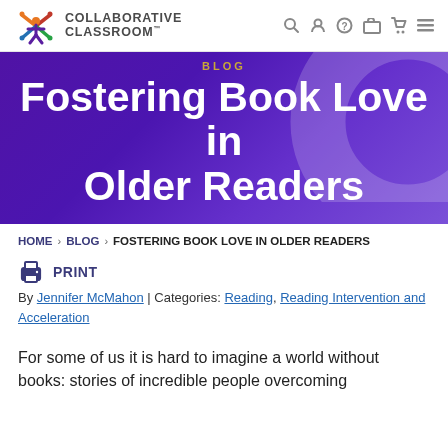COLLABORATIVE CLASSROOM
Fostering Book Love in Older Readers
BLOG
HOME > BLOG > FOSTERING BOOK LOVE IN OLDER READERS
PRINT
By Jennifer McMahon | Categories: Reading, Reading Intervention and Acceleration
For some of us it is hard to imagine a world without books: stories of incredible people overcoming